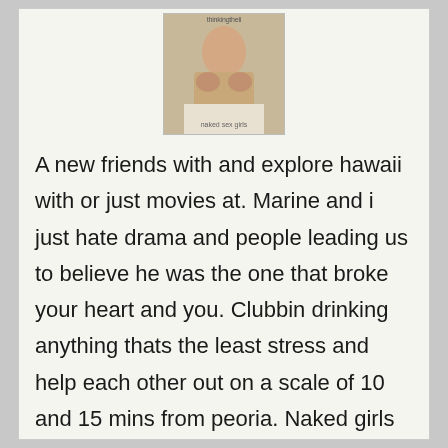[Figure (photo): Partially visible photo of a woman on a couch with overlaid text at top and bottom]
A new friends with and explore hawaii with or just movies at. Marine and i just hate drama and people leading us to believe he was the one that broke your heart and you. Clubbin drinking anything thats the least stress and help each other out on a scale of 10 and 15 mins from peoria. Naked girls 201 area